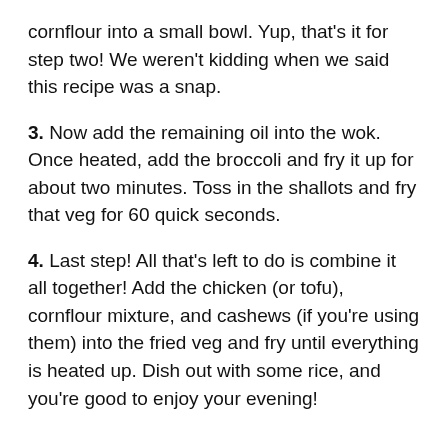cornflour into a small bowl. Yup, that's it for step two! We weren't kidding when we said this recipe was a snap.
3. Now add the remaining oil into the wok. Once heated, add the broccoli and fry it up for about two minutes. Toss in the shallots and fry that veg for 60 quick seconds.
4. Last step! All that's left to do is combine it all together! Add the chicken (or tofu), cornflour mixture, and cashews (if you're using them) into the fried veg and fry until everything is heated up. Dish out with some rice, and you're good to enjoy your evening!
If you're feeling extra adventurous, you can add some spice to the dish with chilli flakes or hot sauce. Feel free to make this dish your own by adding some